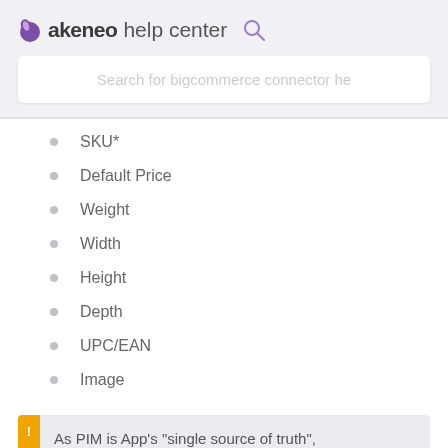akeneo help center [search icon]
Search for bigcommerce connector he
SKU*
Default Price
Weight
Width
Height
Depth
UPC/EAN
Image
As PIM is App's "single source of truth", please make sure to always perform your product updates directly in the Akeneo...